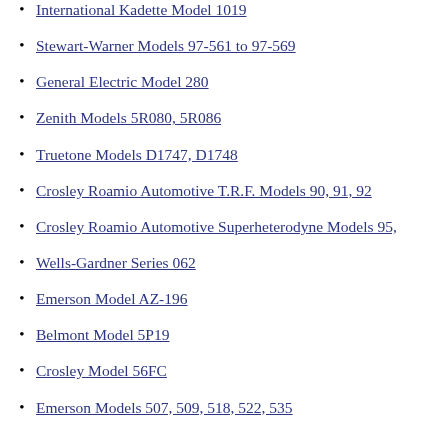International Kadette Model 1019
Stewart-Warner Models 97-561 to 97-569
General Electric Model 280
Zenith Models 5R080, 5R086
Truetone Models D1747, D1748
Crosley Roamio Automotive T.R.F. Models 90, 91, 92
Crosley Roamio Automotive Superheterodyne Models 95,
Wells-Gardner Series 062
Emerson Model AZ-196
Belmont Model 5P19
Crosley Model 56FC
Emerson Models 507, 509, 518, 522, 535